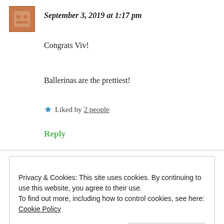September 3, 2019 at 1:17 pm
Congrats Viv!
Ballerinas are the prettiest!
★ Liked by 2 people
Reply
Privacy & Cookies: This site uses cookies. By continuing to use this website, you agree to their use.
To find out more, including how to control cookies, see here: Cookie Policy
Close and accept